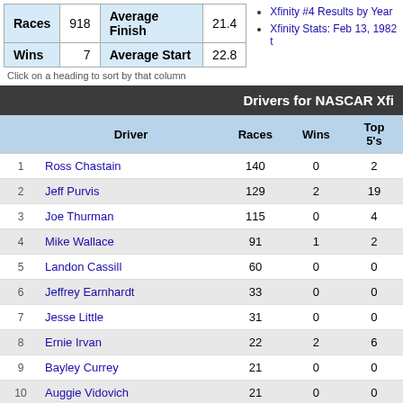| Races | 918 | Average Finish | 21.4 | Wins | 7 | Average Start | 22.8 |
| --- | --- | --- | --- | --- | --- | --- | --- |
Xfinity #4 Results by Year
Xfinity Stats: Feb 13, 1982 t
Click on a heading to sort by that column
Drivers for NASCAR Xfi
|  | Driver | Races | Wins | Top 5's |
| --- | --- | --- | --- | --- |
| 1 | Ross Chastain | 140 | 0 | 2 |
| 2 | Jeff Purvis | 129 | 2 | 19 |
| 3 | Joe Thurman | 115 | 0 | 4 |
| 4 | Mike Wallace | 91 | 1 | 2 |
| 5 | Landon Cassill | 60 | 0 | 0 |
| 6 | Jeffrey Earnhardt | 33 | 0 | 0 |
| 7 | Jesse Little | 31 | 0 | 0 |
| 8 | Ernie Irvan | 22 | 2 | 6 |
| 9 | Bayley Currey | 21 | 0 | 0 |
| 10 | Auggie Vidovich | 21 | 0 | 0 |
| 11 | Derrike Cope | 19 | 0 | 0 |
| 12 | Danny Efland | 18 | 0 | 0 |
| 13 | Regan Smith | 17 | 0 | 3 |